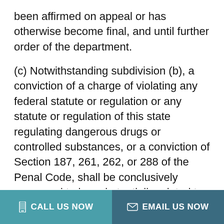been affirmed on appeal or has otherwise become final, and until further order of the department.
(c) Notwithstanding subdivision (b), a conviction of a charge of violating any federal statute or regulation or any statute or regulation of this state regulating dangerous drugs or controlled substances, or a conviction of Section 187, 261, 262, or 288 of the Penal Code, shall be conclusively presumed to be substantially related to the qualifications, functions, or duties of a licensee and no hearing shall be held on this issue. However, upon its own motion or for good
CALL US NOW   EMAIL US NOW